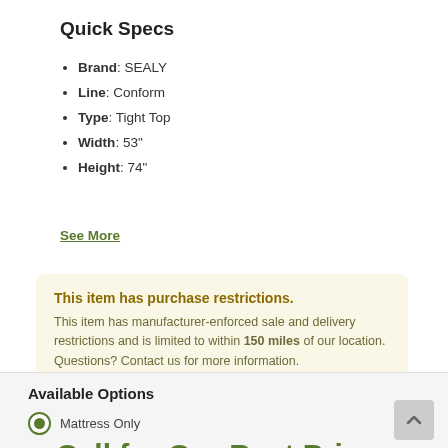Quick Specs
Brand: SEALY
Line: Conform
Type: Tight Top
Width: 53"
Height: 74"
See More
This item has purchase restrictions. This item has manufacturer-enforced sale and delivery restrictions and is limited to within 150 miles of our location. Questions? Contact us for more information.
Available Options
Mattress Only
Call for Our Best Price
Mattress and Ergo Smart Base
Call for Our Best Price